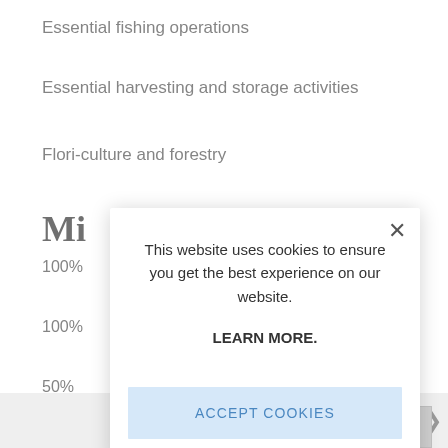Essential fishing operations
Essential harvesting and storage activities
Flori-culture and forestry
Mi
100%
100%
50%
Ele
All e
[Figure (screenshot): Cookie consent modal dialog overlaying the page content. The modal shows text: 'This website uses cookies to ensure you get the best experience on our website.' followed by 'LEARN MORE.' in bold, and an 'ACCEPT COOKIES' button in light blue. A close (X) button is in the top right corner of the modal.]